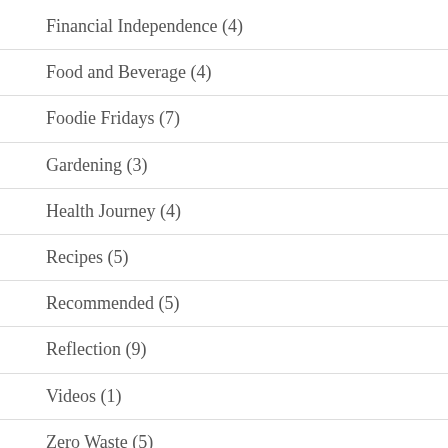Financial Independence (4)
Food and Beverage (4)
Foodie Fridays (7)
Gardening (3)
Health Journey (4)
Recipes (5)
Recommended (5)
Reflection (9)
Videos (1)
Zero Waste (5)